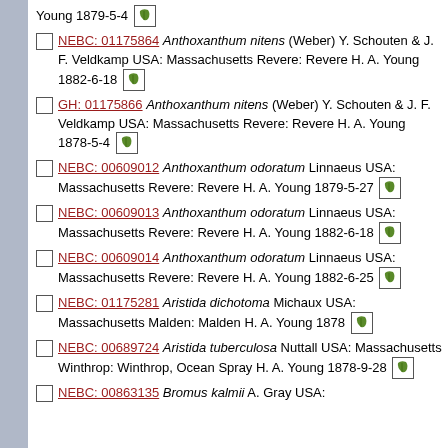Young 1879-5-4 [leaf icon]
NEBC: 01175864 Anthoxanthum nitens (Weber) Y. Schouten & J. F. Veldkamp USA: Massachusetts Revere: Revere H. A. Young 1882-6-18 [leaf icon]
GH: 01175866 Anthoxanthum nitens (Weber) Y. Schouten & J. F. Veldkamp USA: Massachusetts Revere: Revere H. A. Young 1878-5-4 [leaf icon]
NEBC: 00609012 Anthoxanthum odoratum Linnaeus USA: Massachusetts Revere: Revere H. A. Young 1879-5-27 [leaf icon]
NEBC: 00609013 Anthoxanthum odoratum Linnaeus USA: Massachusetts Revere: Revere H. A. Young 1882-6-18 [leaf icon]
NEBC: 00609014 Anthoxanthum odoratum Linnaeus USA: Massachusetts Revere: Revere H. A. Young 1882-6-25 [leaf icon]
NEBC: 01175281 Aristida dichotoma Michaux USA: Massachusetts Malden: Malden H. A. Young 1878 [leaf icon]
NEBC: 00689724 Aristida tuberculosa Nuttall USA: Massachusetts Winthrop: Winthrop, Ocean Spray H. A. Young 1878-9-28 [leaf icon]
NEBC: 00863135 Bromus kalmii A. Gray USA: